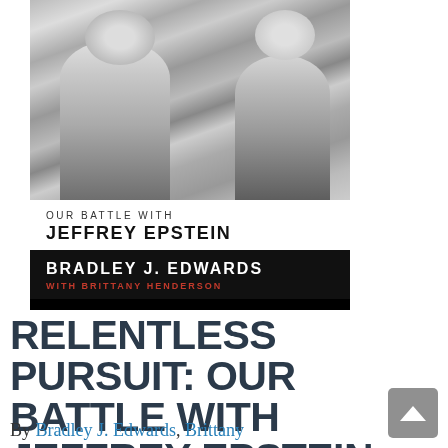[Figure (photo): Book cover for 'Relentless Pursuit: Our Battle with Jeffrey Epstein' by Bradley J. Edwards with Brittany Henderson. Features a black and white photo of two men on the upper half, with a white text block showing subtitle 'OUR BATTLE WITH JEFFREY EPSTEIN' and a black author block at the bottom.]
RELENTLESS PURSUIT: OUR BATTLE WITH JEFFREY EPSTEIN (PAPERBACK)
By Bradley J. Edwards, Brittany